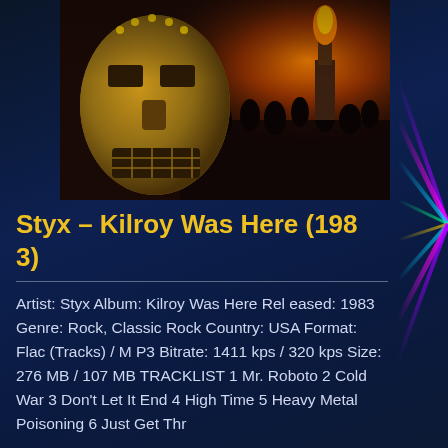[Figure (photo): Concert/album photo: large golden Kilroy robot mask face on the left, dark atmospheric concert scene with fire and crowd silhouettes on the right, dramatic warm lighting]
Styx – Kilroy Was Here (1983)
Artist: Styx Album: Kilroy Was Here Released: 1983 Genre: Rock, Classic Rock Country: USA Format: Flac (Tracks) / MP3 Bitrate: 1411 kps / 320 kps Size: 276 MB / 107 MB TRACKLIST 1 Mr. Roboto 2 Cold War 3 Don't Let It End 4 High Time 5 Heavy Metal Poisoning 6 Just Get Thr